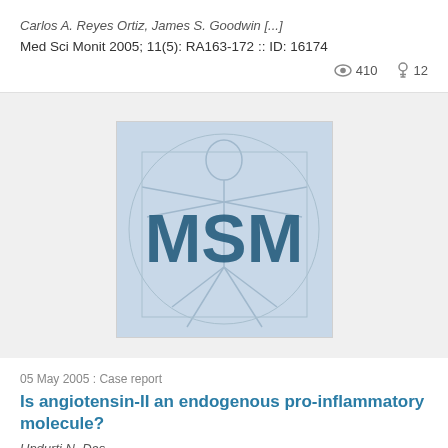Carlos A. Reyes Ortiz, James S. Goodwin [...]
Med Sci Monit 2005; 11(5): RA163-172 :: ID: 16174
410  12
[Figure (logo): MSM (Medical Science Monitor) journal logo featuring the Vitruvian Man sketch in light blue with bold dark teal MSM text overlaid]
05 May 2005 : Case report
Is angiotensin-II an endogenous pro-inflammatory molecule?
Undurti N. Das,